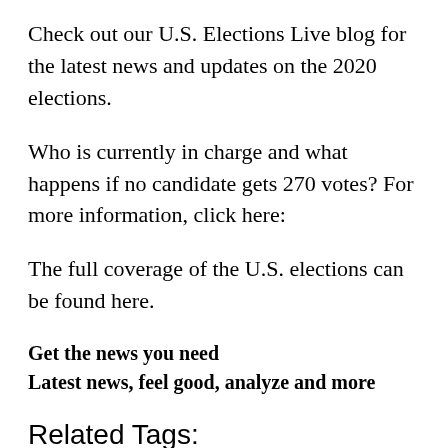Check out our U.S. Elections Live blog for the latest news and updates on the 2020 elections.
Who is currently in charge and what happens if no candidate gets 270 votes? For more information, click here:
The full coverage of the U.S. elections can be found here.
Get the news you need
Latest news, feel good, analyze and more
Related Tags: